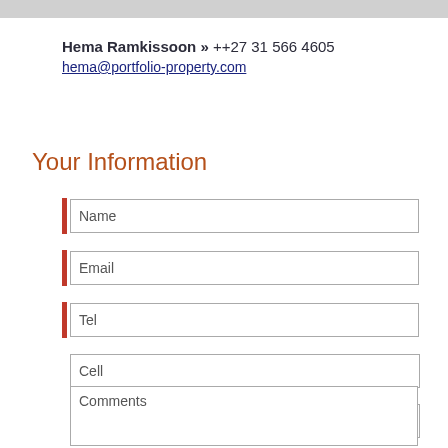Hema Ramkissoon » ++27 31 566 4605
hema@portfolio-property.com
Your Information
Name
Email
Tel
Cell
How did you hear about us
Comments